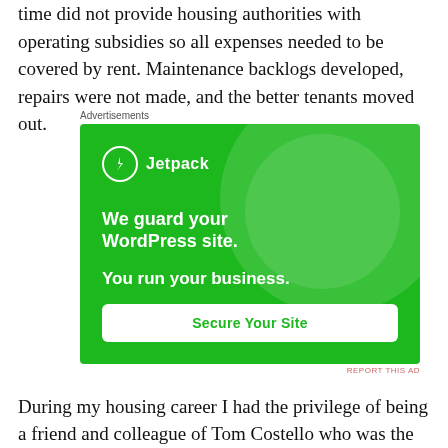time did not provide housing authorities with operating subsidies so all expenses needed to be covered by rent. Maintenance backlogs developed, repairs were not made, and the better tenants moved out.
[Figure (other): Jetpack advertisement banner. Green background with decorative circles. Shows Jetpack logo (lightning bolt in circle), tagline 'We guard your WordPress site. You run your business.' and a 'Secure Your Site' button. 'REPORT THIS AD' link in bottom right.]
During my housing career I had the privilege of being a friend and colleague of Tom Costello who was the